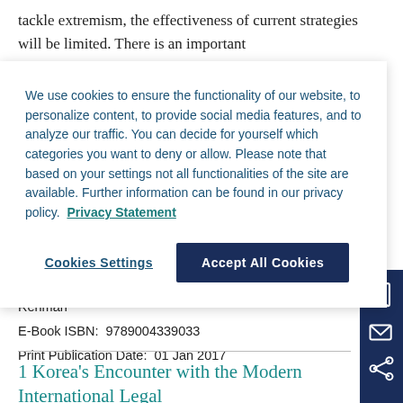tackle extremism, the effectiveness of current strategies will be limited. There is an important
We use cookies to ensure the functionality of our website, to personalize content, to provide social media features, and to analyze our traffic. You can decide for yourself which categories you want to deny or allow. Please note that based on your settings not all functionalities of the site are available. Further information can be found in our privacy policy. Privacy Statement
Cookies Settings
Accept All Cookies
Editors:  Ayesha Shahid, Meryl Dickinson, and Javaid Rehman
E-Book ISBN:  9789004339033
Print Publication Date:  01 Jan 2017
1 Korea's Encounter with the Modern International Legal